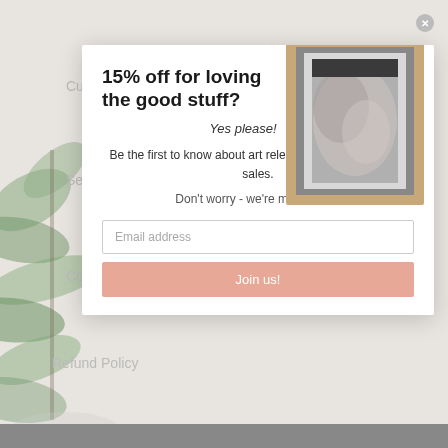[Figure (screenshot): Website background with faded navigation links: Customer Service, Search, Contact us, Refund Policy, Privacy Policy, Terms of Service, Shipping, and decorative plant imagery on the left side]
[Figure (illustration): A framed artwork showing a minimalist photograph in a wood/grey frame, featuring a blurred close-up image]
15% off for loving the good stuff?
Yes please!
Be the first to know about art releases, new product and sales.
Don't worry - we're minimalists!
Email address
Join us!